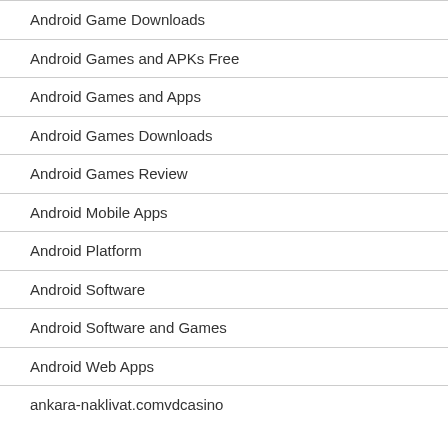Android Game Downloads
Android Games and APKs Free
Android Games and Apps
Android Games Downloads
Android Games Review
Android Mobile Apps
Android Platform
Android Software
Android Software and Games
Android Web Apps
ankara-naklivat.comvdcasino